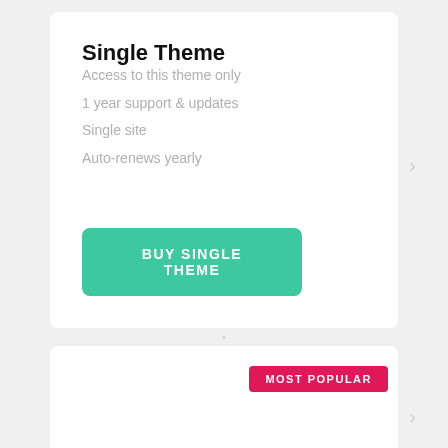Single Theme
Access to this theme only
1 year support & updates
Single site
Auto-renews yearly
BUY SINGLE THEME
MOST POPULAR